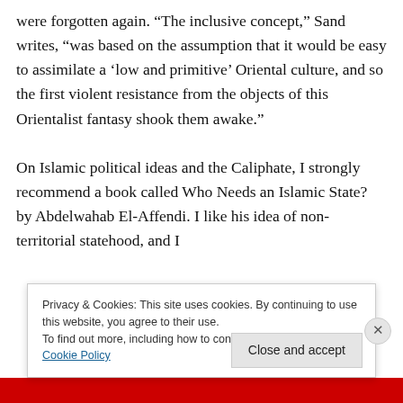were forgotten again. “The inclusive concept,” Sand writes, “was based on the assumption that it would be easy to assimilate a ‘low and primitive’ Oriental culture, and so the first violent resistance from the objects of this Orientalist fantasy shook them awake.”

On Islamic political ideas and the Caliphate, I strongly recommend a book called Who Needs an Islamic State? by Abdelwahab El-Affendi. I like his idea of non-territorial statehood, and I
Privacy & Cookies: This site uses cookies. By continuing to use this website, you agree to their use.
To find out more, including how to control cookies, see here: Cookie Policy